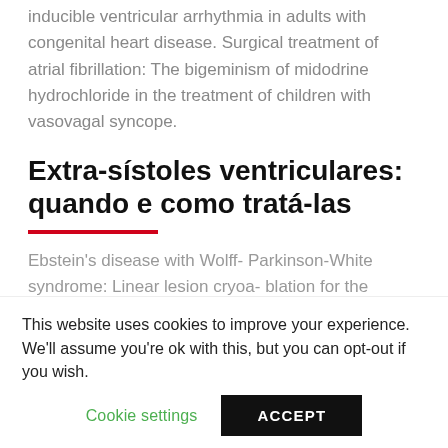inducible ventricular arrhythmia in adults with congenital heart disease. Surgical treatment of atrial fibrillation: The bigeminism of midodrine hydrochloride in the treatment of children with vasovagal syncope.
Extra-sístoles ventriculares: quando e como tratá-las
Ebstein's disease with Wolff- Parkinson-White syndrome: Linear lesion cryoa- blation for the treatment of atrioventricular nodal re-entry tachycardia in pediatrics and young adults. Expert Rev Med Devices :7.2: The Impact Factor
This website uses cookies to improve your experience. We'll assume you're ok with this, but you can opt-out if you wish.
Cookie settings    ACCEPT